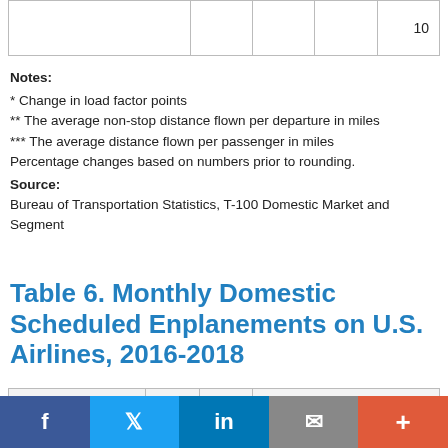|  |  |  |  | 10 |
| --- | --- | --- | --- | --- |
|   |   |   |   | 10 |
Notes:
* Change in load factor points
** The average non-stop distance flown per departure in miles
*** The average distance flown per passenger in miles
Percentage changes based on numbers prior to rounding.
Source:
Bureau of Transportation Statistics, T-100 Domestic Market and Segment
Table 6. Monthly Domestic Scheduled Enplanements on U.S. Airlines, 2016-2018
|  | 2016 | 2017 | 2016-2017 Pct. Change |
| --- | --- | --- | --- |